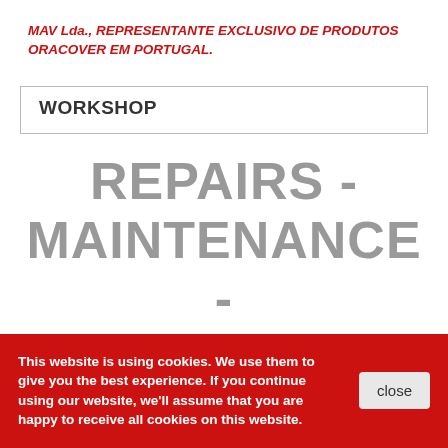MAV Lda., REPRESENTANTE EXCLUSIVO DE PRODUTOS ORACOVER EM PORTUGAL.
WORKSHOP
REPAIRS - MAINTENANCE - UPGRADES
We also offer repairs to your radio equipment, from Drones, Cars, Boats, etc... offering a wide range of quality brands such as Spektrum, Futaba, FrSky, Jeti, Sanwa, JR, Multiplex, and others.
This website is using cookies. We use them to give you the best experience. If you continue using our website, we'll assume that you are happy to receive all cookies on this website.